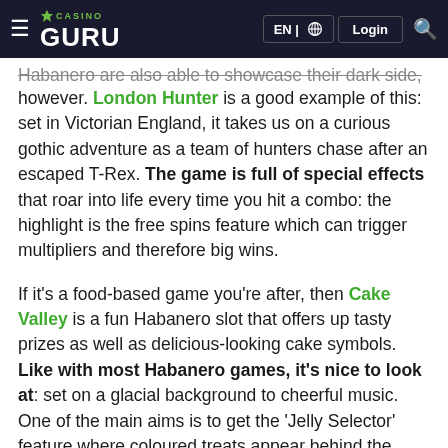Casino Guru | EN | Login
Habanero are also able to showcase their dark side, however. London Hunter is a good example of this: set in Victorian England, it takes us on a curious gothic adventure as a team of hunters chase after an escaped T-Rex. The game is full of special effects that roar into life every time you hit a combo: the highlight is the free spins feature which can trigger multipliers and therefore big wins.
If it's a food-based game you're after, then Cake Valley is a fun Habanero slot that offers up tasty prizes as well as delicious-looking cake symbols. Like with most Habanero games, it's nice to look at: set on a glacial background to cheerful music. One of the main aims is to get the 'Jelly Selector' feature where coloured treats appear behind the reels – you get a certain number of free spins depending on which colour appears.